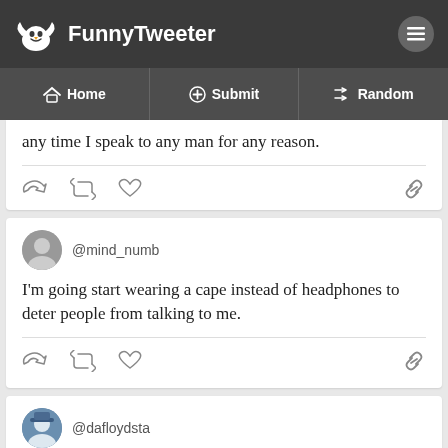FunnyTweeter
Home | Submit | Random
any time I speak to any man for any reason.
@mind_numb
I'm going start wearing a cape instead of headphones to deter people from talking to me.
@dafloydsta